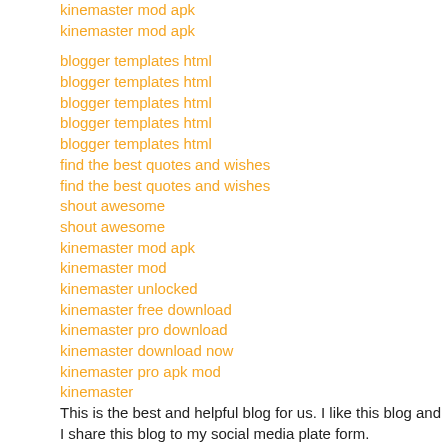kinemaster mod apk
kinemaster mod apk
blogger templates html
blogger templates html
blogger templates html
blogger templates html
blogger templates html
find the best quotes and wishes
find the best quotes and wishes
shout awesome
shout awesome
kinemaster mod apk
kinemaster mod
kinemaster unlocked
kinemaster free download
kinemaster pro download
kinemaster download now
kinemaster pro apk mod
kinemaster
This is the best and helpful blog for us. I like this blog and I share this blog to my social media plate form.